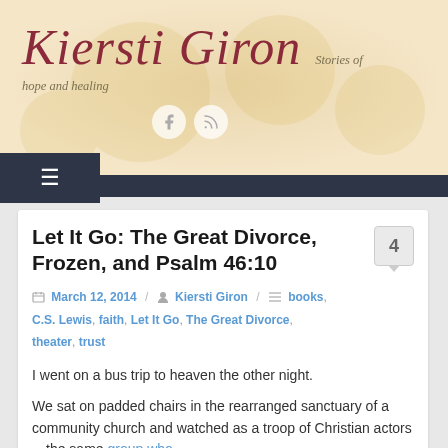Kiersti Giron — Stories of hope and healing
Let It Go: The Great Divorce, Frozen, and Psalm 46:10
March 12, 2014 / Kiersti Giron / books, C.S. Lewis, faith, Let It Go, The Great Divorce, theater, trust
I went on a bus trip to heaven the other night.
We sat on padded chairs in the rearranged sanctuary of a community church and watched as a troop of Christian actors—the same group who